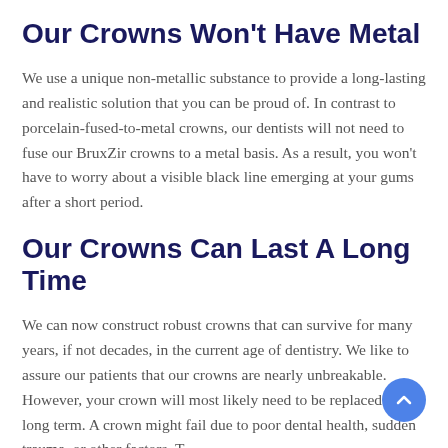Our Crowns Won't Have Metal
We use a unique non-metallic substance to provide a long-lasting and realistic solution that you can be proud of. In contrast to porcelain-fused-to-metal crowns, our dentists will not need to fuse our BruxZir crowns to a metal basis. As a result, you won't have to worry about a visible black line emerging at your gums after a short period.
Our Crowns Can Last A Long Time
We can now construct robust crowns that can survive for many years, if not decades, in the current age of dentistry. We like to assure our patients that our crowns are nearly unbreakable. However, your crown will most likely need to be replaced in the long term. A crown might fail due to poor dental health, sudden trauma, or other factors. T...